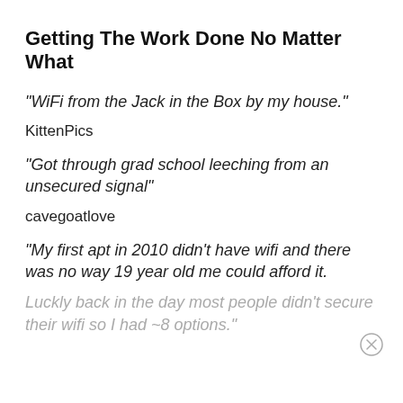Getting The Work Done No Matter What
"WiFi from the Jack in the Box by my house."
KittenPics
"Got through grad school leeching from an unsecured signal"
cavegoatlove
"My first apt in 2010 didn't have wifi and there was no way 19 year old me could afford it. Luckly back in the day most people didn't secure their wifi so I had ~8 options."